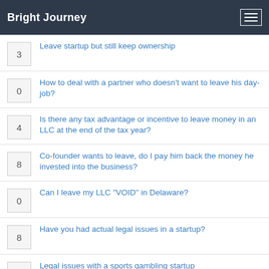Bright Journey
3 — Leave startup but still keep ownership
0 — How to deal with a partner who doesn't want to leave his day-job?
4 — Is there any tax advantage or incentive to leave money in an LLC at the end of the tax year?
8 — Co-founder wants to leave, do I pay him back the money he invested into the business?
0 — Can I leave my LLC "VOID" in Delaware?
8 — Have you had actual legal issues in a startup?
3 — Legal issues with a sports gambling startup